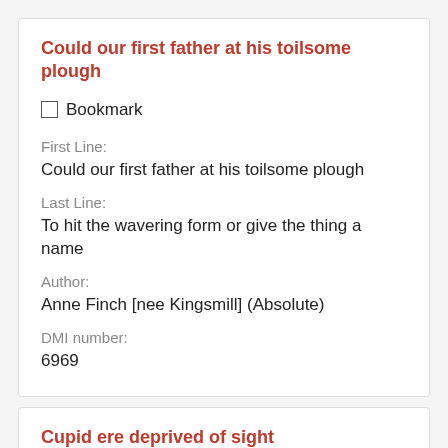Could our first father at his toilsome plough
Bookmark
First Line:
Could our first father at his toilsome plough
Last Line:
To hit the wavering form or give the thing a name
Author:
Anne Finch [nee Kingsmill] (Absolute)
DMI number:
6969
Cupid ere deprived of sight
Bookmark